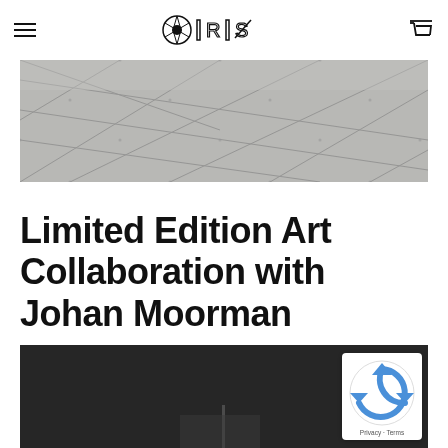IRIS (logo with hamburger menu and cart icon)
[Figure (photo): Overhead view of grey concrete paving tiles at a diagonal angle, black and white photograph]
Limited Edition Art Collaboration with Johan Moorman
[Figure (photo): Dark background image, partially visible, with a thin vertical element visible at bottom center — appears to be a product or artwork photo]